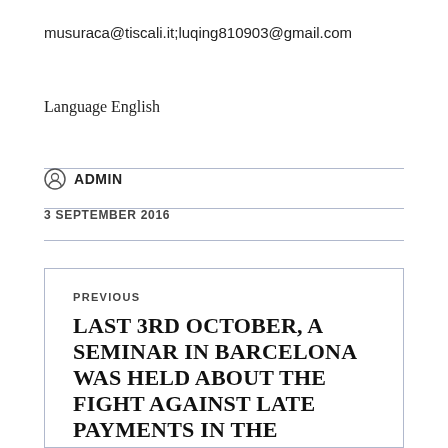musuraca@tiscali.it;luqing810903@gmail.com
Language English
ADMIN
3 SEPTEMBER 2016
PREVIOUS
LAST 3RD OCTOBER, A SEMINAR IN BARCELONA WAS HELD ABOUT THE FIGHT AGAINST LATE PAYMENTS IN THE EUROPEAN CONTEXT AND THE NEW PROCEDURE OF EUROPEAN ORDER OF PAYMENT